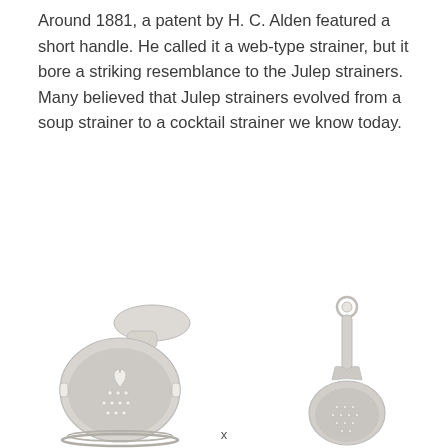Around 1881, a patent by H. C. Alden featured a short handle. He called it a web-type strainer, but it bore a striking resemblance to the Julep strainers. Many believed that Julep strainers evolved from a soup strainer to a cocktail strainer we know today.
[Figure (photo): Two cocktail/julep strainers side by side. Left: a flat, spoon-shaped silver strainer with perforations and a wire spring coil at the bowl edge, viewed from above. Right: a smaller silver julep strainer with a long thin handle topped by a small loop, and an oval perforated bowl, viewed at an angle.]
x